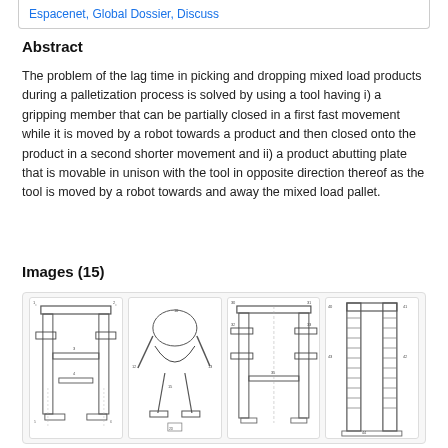Espacenet, Global Dossier, Discuss
Abstract
The problem of the lag time in picking and dropping mixed load products during a palletization process is solved by using a tool having i) a gripping member that can be partially closed in a first fast movement while it is moved by a robot towards a product and then closed onto the product in a second shorter movement and ii) a product abutting plate that is movable in unison with the tool in opposite direction thereof as the tool is moved by a robot towards and away the mixed load pallet.
Images (15)
[Figure (engineering-diagram): Four patent engineering diagrams showing a robotic palletizing gripper tool from different angles and configurations, including front views with mechanical arms, gripping members, and structural components with reference numerals.]